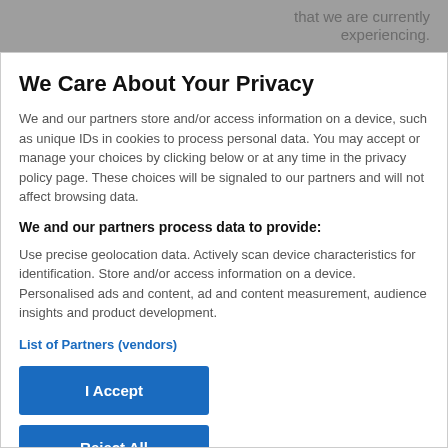that we are currently experiencing.
We Care About Your Privacy
We and our partners store and/or access information on a device, such as unique IDs in cookies to process personal data. You may accept or manage your choices by clicking below or at any time in the privacy policy page. These choices will be signaled to our partners and will not affect browsing data.
We and our partners process data to provide:
Use precise geolocation data. Actively scan device characteristics for identification. Store and/or access information on a device. Personalised ads and content, ad and content measurement, audience insights and product development.
List of Partners (vendors)
I Accept
Reject All